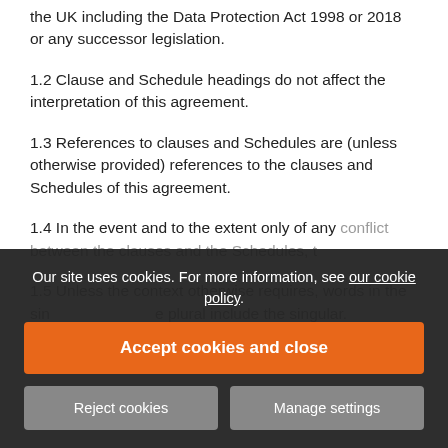the UK including the Data Protection Act 1998 or 2018 or any successor legislation.
1.2 Clause and Schedule headings do not affect the interpretation of this agreement.
1.3 References to clauses and Schedules are (unless otherwise provided) references to the clauses and Schedules of this agreement.
1.4 In the event and to the extent only of any conflict between the clauses and the Schedules, t[obscured]
1.5 Unless the context otherwise requires, words in the sin[obscured] e plural include the singular.
1.6 A reference to a statute or statutory provision
Our site uses cookies. For more information, see our cookie policy.
Accept cookies and close
Reject cookies
Manage settings